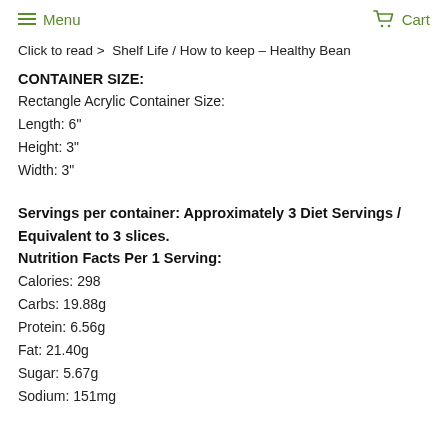Menu   Cart
Click to read >  Shelf Life / How to keep – Healthy Bean
CONTAINER SIZE:
Rectangle Acrylic Container Size:
Length: 6"
Height: 3"
Width: 3"
Servings per container: Approximately 3 Diet Servings / Equivalent to 3 slices.
Nutrition Facts Per 1 Serving:
Calories: 298
Carbs: 19.88g
Protein: 6.56g
Fat:  21.40g
Sugar: 5.67g
Sodium:  151mg